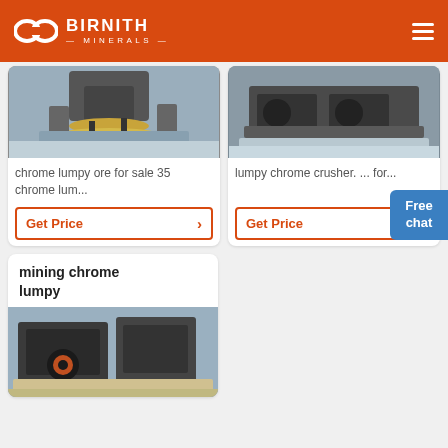BIRNITH MINERALS
[Figure (photo): Industrial cone crusher machine in a factory setting]
chrome lumpy ore for sale 35 chrome lum...
Get Price
[Figure (photo): Large industrial roller crusher machine in a factory]
lumpy chrome crusher. ... for...
Get Price
Free chat
mining chrome lumpy
[Figure (photo): Mining jaw crusher machine with orange accents]